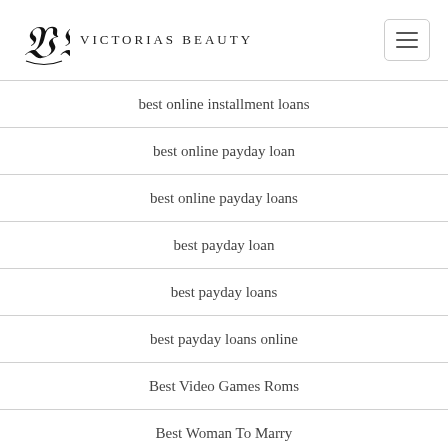VICTORIAS BEAUTY
best online installment loans
best online payday loan
best online payday loans
best payday loan
best payday loans
best payday loans online
Best Video Games Roms
Best Woman To Marry
Bettilt